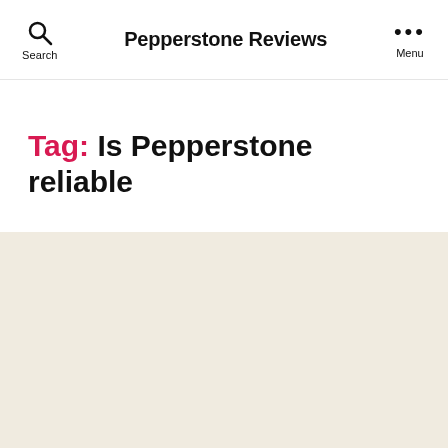Pepperstone Reviews
Tag: Is Pepperstone reliable
UNCATEGORIZED
Is Pepperstone Safe?
[Figure (screenshot): Large 'ForexS' text displayed as part of a website banner/image for an article about Pepperstone, with a blue circle partially visible on the right.]